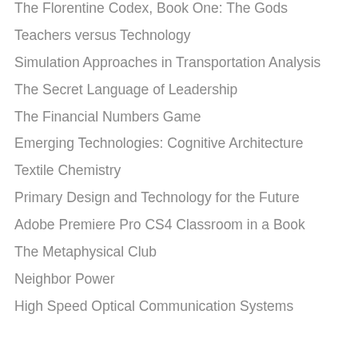The Florentine Codex, Book One: The Gods
Teachers versus Technology
Simulation Approaches in Transportation Analysis
The Secret Language of Leadership
The Financial Numbers Game
Emerging Technologies: Cognitive Architecture
Textile Chemistry
Primary Design and Technology for the Future
Adobe Premiere Pro CS4 Classroom in a Book
The Metaphysical Club
Neighbor Power
High Speed Optical Communication Systems